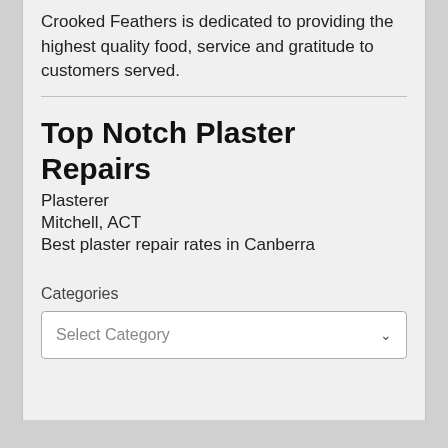Crooked Feathers is dedicated to providing the highest quality food, service and gratitude to customers served.
Top Notch Plaster Repairs
Plasterer
Mitchell, ACT
Best plaster repair rates in Canberra
Categories
Select Category